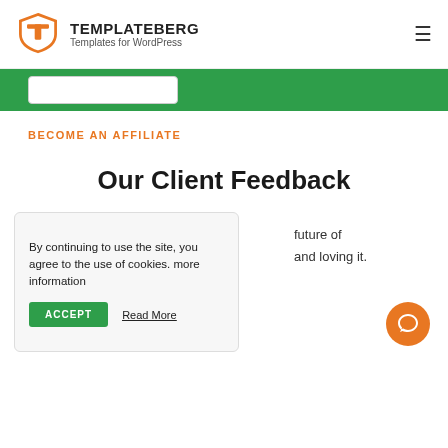TEMPLATEBERG — Templates for WordPress
[Figure (logo): Templateberg orange T shield logo]
BECOME AN AFFILIATE
Our Client Feedback
By continuing to use the site, you agree to the use of cookies. more information
future of and loving it.